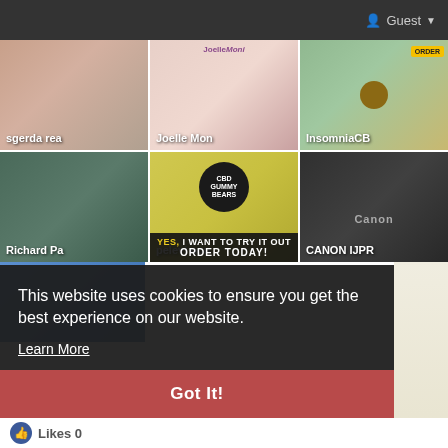Guest
[Figure (photo): Grid of 6 thumbnail images: sgerda rea (hair/beauty product), Joelle Mon (beauty/skincare), InsomniaCB (CBD/cannabis product), Richard Pa (person in jacket), pelevi nou (CBD Gummy Bears with ORDER TODAY banner), CANON IJPR (Canon printer)]
This website uses cookies to ensure you get the best experience on our website.
Learn More
Got It!
Likes 0